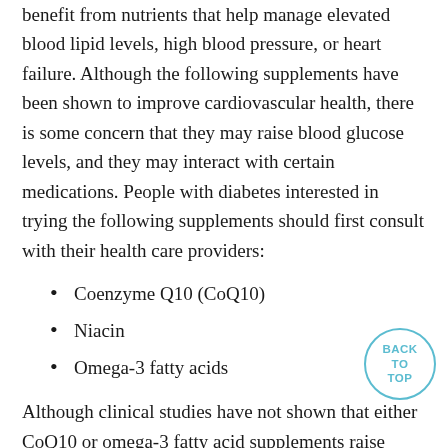benefit from nutrients that help manage elevated blood lipid levels, high blood pressure, or heart failure. Although the following supplements have been shown to improve cardiovascular health, there is some concern that they may raise blood glucose levels, and they may interact with certain medications. People with diabetes interested in trying the following supplements should first consult with their health care providers:
Coenzyme Q10 (CoQ10)
Niacin
Omega-3 fatty acids
Although clinical studies have not shown that either CoQ10 or omega-3 fatty acid supplements raise blood sugar levels, people with diabetes should discuss the safety and appropriateness of using these, or any